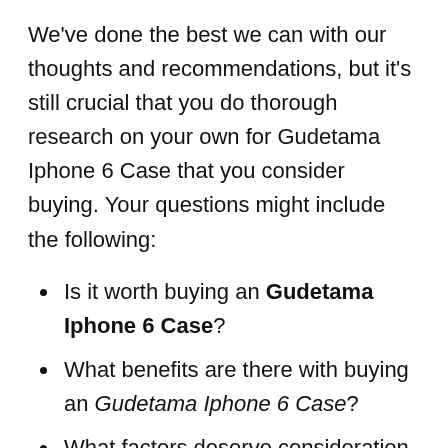We've done the best we can with our thoughts and recommendations, but it's still crucial that you do thorough research on your own for Gudetama Iphone 6 Case that you consider buying. Your questions might include the following:
Is it worth buying an Gudetama Iphone 6 Case?
What benefits are there with buying an Gudetama Iphone 6 Case?
What factors deserve consideration